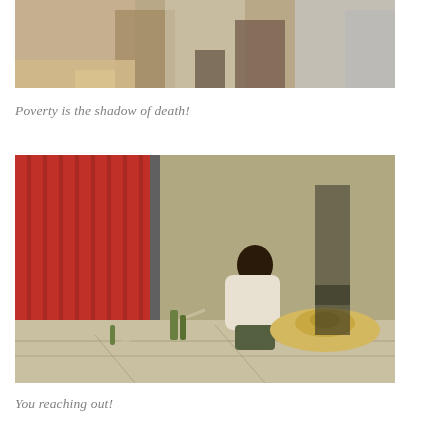[Figure (photo): Partial view of people standing on a sidewalk or ground, seen from above, with bare feet and shoes visible near a wall.]
Poverty is the shadow of death!
[Figure (photo): An elderly man crouching on a cracked sidewalk next to a red corrugated metal fence, holding a straw hat on the ground, appearing to be begging.]
You reaching out!